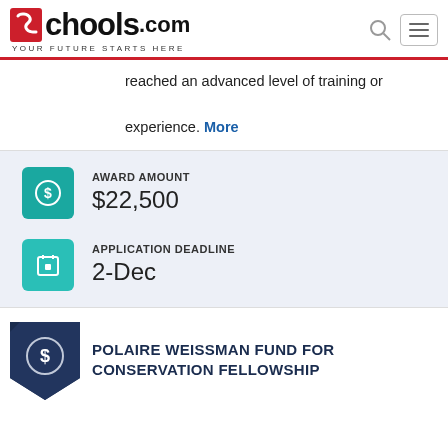Schools.com — YOUR FUTURE STARTS HERE
reached an advanced level of training or experience. More
AWARD AMOUNT: $22,500
APPLICATION DEADLINE: 2-Dec
POLAIRE WEISSMAN FUND FOR CONSERVATION FELLOWSHIP